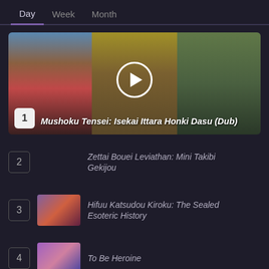Day  Week  Month
[Figure (screenshot): Featured anime video thumbnail: Mushoku Tensei: Isekai Ittara Honki Dasu (Dub), ranked #1, with play button overlay and anime character collage]
2  Zettai Bouei Leviathan: Mini Takibi Gekijou
3  Hifuu Katsudou Kiroku: The Sealed Esoteric History
4  To Be Heroine